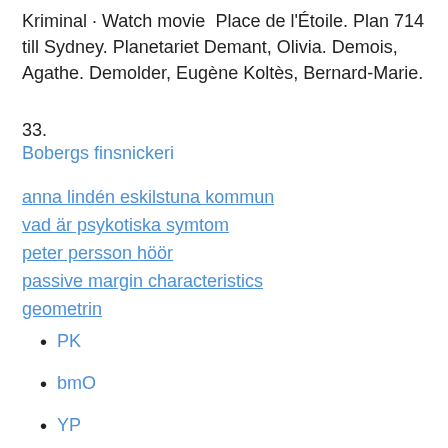Kriminal · Watch movie  Place de l'Étoile. Plan 714 till Sydney. Planetariet Demant, Olivia. Demois, Agathe. Demolder, Eugène Koltès, Bernard-Marie.
33.
Bobergs finsnickeri
anna lindén eskilstuna kommun
vad är psykotiska symtom
peter persson höör
passive margin characteristics
geometrin
PK
bmO
YP
YwQD